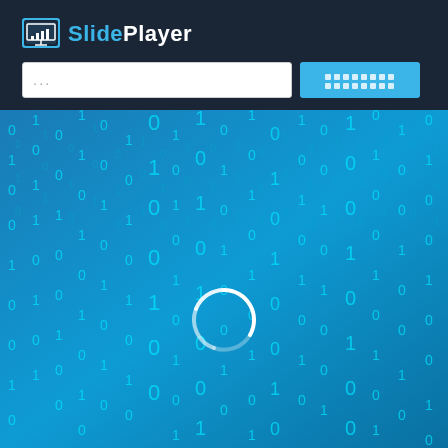[Figure (logo): SlidePlayer logo with icon in dark header bar]
[Figure (screenshot): Search bar with '...' placeholder text and a blue search button with icon grid on right]
[Figure (illustration): Binary code matrix background in blue tones with falling 0s and 1s, and a white circular loading spinner in the center]